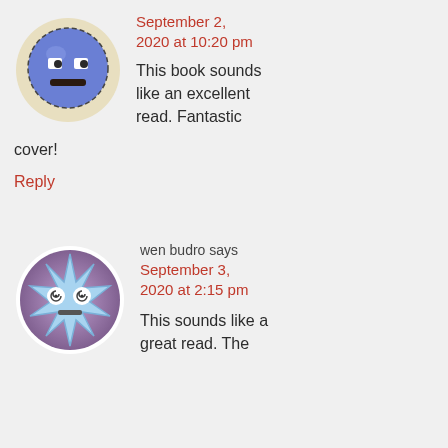[Figure (illustration): Blue cartoon face avatar in a circular frame with beige/cream border]
September 2, 2020 at 10:20 pm
This book sounds like an excellent read. Fantastic cover!
Reply
wen budro says
[Figure (illustration): Blue star-shaped cartoon face avatar with spiral eyes in a circular purple-gradient frame]
September 3, 2020 at 2:15 pm
This sounds like a great read. The